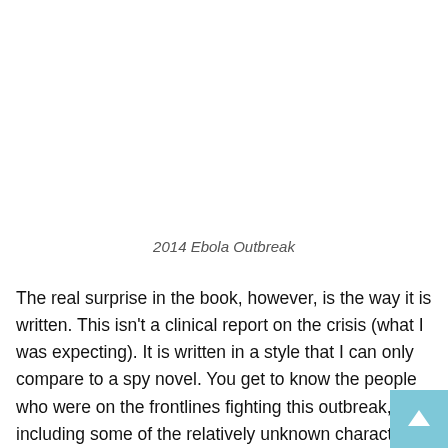2014 Ebola Outbreak
The real surprise in the book, however, is the way it is written. This isn't a clinical report on the crisis (what I was expecting). It is written in a style that I can only compare to a spy novel. You get to know the people who were on the frontlines fighting this outbreak, including some of the relatively unknown characters who did not make it out of the crisis alive.